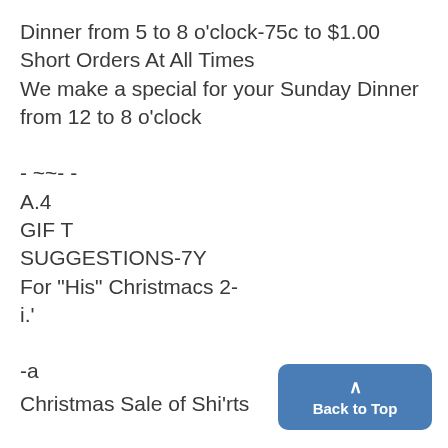Dinner from 5 to 8 o'clock-75c to $1.00
Short Orders At All Times
We make a special for your Sunday Dinner from 12 to 8 o'clock
- ~~- -
A.4
GIF T
SUGGESTIONS-7Y
For "His" Christmacs 2-
i.'
-a
Christmas Sale of Shi'rts